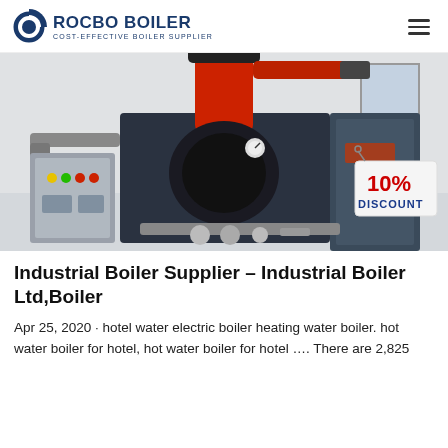ROCBO BOILER - COST-EFFECTIVE BOILER SUPPLIER
[Figure (photo): Industrial boiler equipment in a facility showing a gas/oil fired boiler with red cylindrical exhaust, black burner unit, control panel with colored buttons, piping, and a '10% DISCOUNT' promotional tag hanging on the right side.]
Industrial Boiler Supplier – Industrial Boiler Ltd,Boiler
Apr 25, 2020 · hotel water electric boiler heating water boiler. hot water boiler for hotel, hot water boiler for hotel …. There are 2,825 suppliers that sell boilers for hotels on alibaba...